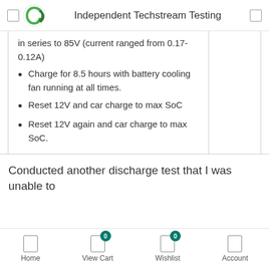Independent Techstream Testing
in series to 85V (current ranged from 0.17-0.12A)
Charge for 8.5 hours with battery cooling fan running at all times.
Reset 12V and car charge to max SoC
Reset 12V again and car charge to max SoC.
Conducted another discharge test that I was unable to
Home   View Cart   Wishlist   Account